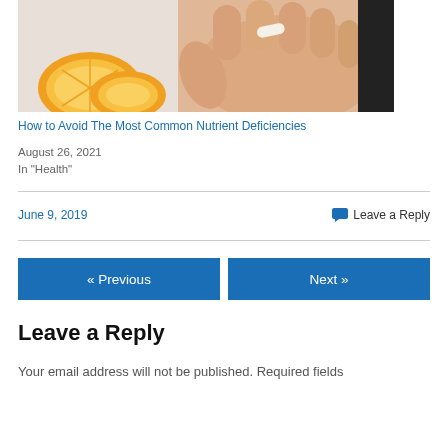[Figure (photo): A hand holding a white pill/capsule next to sliced orange halves on a light surface]
How to Avoid The Most Common Nutrient Deficiencies
August 26, 2021
In "Health"
June 9, 2019
Leave a Reply
« Previous
Next »
Leave a Reply
Your email address will not be published. Required fields